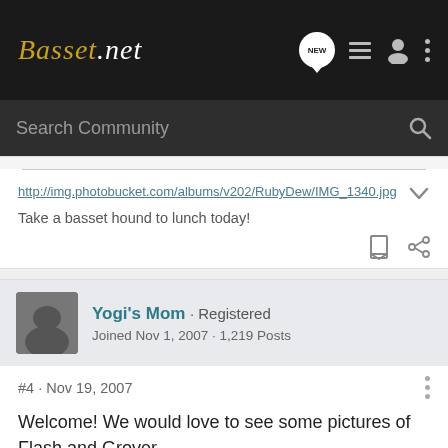Basset.net
Search Community
http://img.photobucket.com/albums/v202/RubyDew/IMG_1340.jpg
Take a basset hound to lunch today!
Yogi's Mom · Registered
Joined Nov 1, 2007 · 1,219 Posts
#4 · Nov 19, 2007
Welcome! We would love to see some pictures of Flash and Grover.